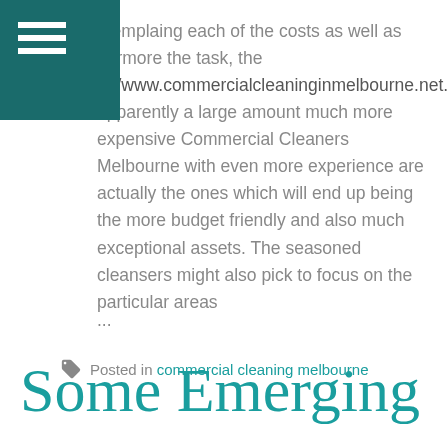menu icon / hamburger navigation
ntemplaing each of the costs as well as hermore the task, the p://www.commercialcleaninginmelbourne.net.au/ apparently a large amount much more expensive Commercial Cleaners Melbourne with even more experience are actually the ones which will end up being the more budget friendly and also much exceptional assets. The seasoned cleansers might also pick to focus on the particular areas
...
Posted in commercial cleaning melbourne
Some Emerging